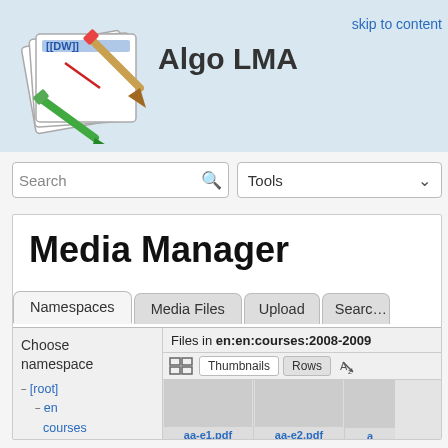Algo LMA
skip to content
Search
Tools
Media Manager
Namespaces
Media Files
Upload
Search
Files in en:en:courses:2008-2009
Thumbnails
Rows
Choose namespace
− [root]
− en
  courses
  − en
    − courses
      2007-2008
    − 2008-
aa-e1.pdf
aa-e2.pdf